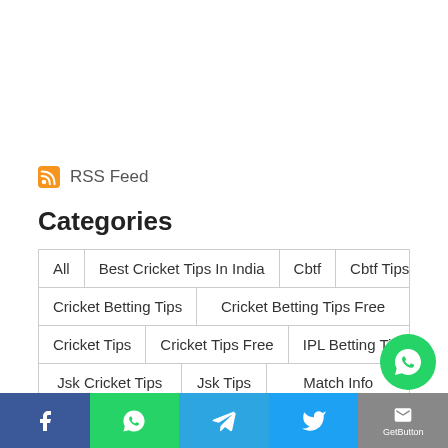RSS Feed
Categories
All | Best Cricket Tips In India | Cbtf | Cbtf Tips | Cricket Betting Tips | Cricket Betting Tips Free | Cricket Tips | Cricket Tips Free | IPL Betting Tips | Jsk Cricket Tips | Jsk Tips | Match Info | Match Prediction | Match Preview | Match Tips